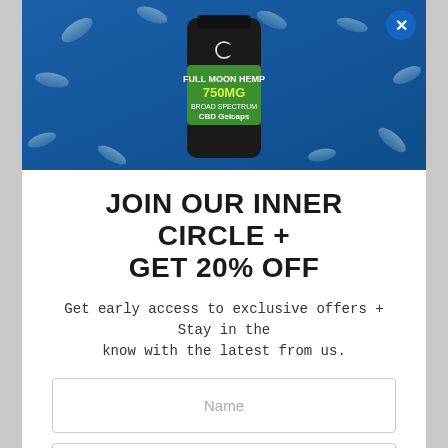[Figure (photo): Product photo of a dark bottle labeled '750MG CBD Gelcaps' from Full Moon Hemp brand, on a blue background with scattered gel capsules/droplets around it.]
JOIN OUR INNER CIRCLE + GET 20% OFF
Get early access to exclusive offers + Stay in the know with the latest from us.
Name
Email
JOIN THE LIST